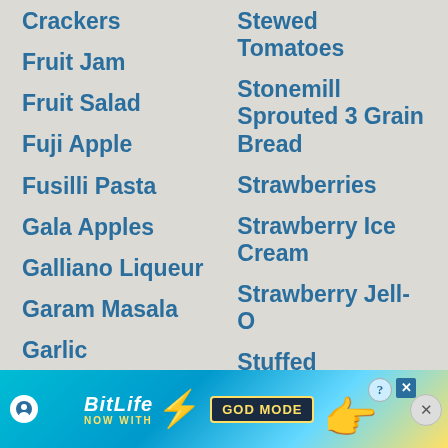Crackers
Fruit Jam
Fruit Salad
Fuji Apple
Fusilli Pasta
Gala Apples
Galliano Liqueur
Garam Masala
Garlic
Garlic Chili Sauce
Garli...
Stewed Tomatoes
Stonemill Sprouted 3 Grain Bread
Strawberries
Strawberry Ice Cream
Strawberry Jell-O
Stuffed
[Figure (screenshot): BitLife advertisement banner at the bottom of the screen. Shows the BitLife logo with text 'NOW WITH GOD MODE', a hand pointing emoji graphic, help and close buttons.]